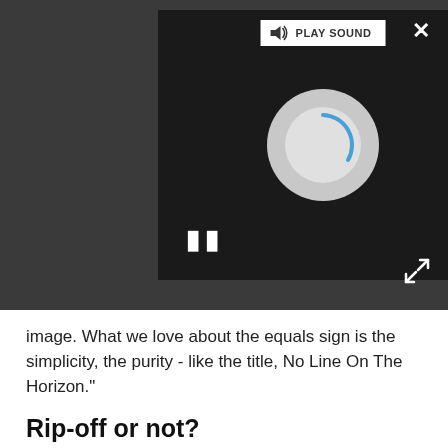[Figure (screenshot): Dark media player interface with a circular loading/spinner graphic, play sound button at top, pause icon (||) at bottom left, close (×) button at top right, and expand arrows at bottom right.]
image. What we love about the equals sign is the simplicity, the purity - like the title, No Line On The Horizon."
Rip-off or not?
When asked about the fact that the image of the Boden Sea had been used previously on another album cover, McGrath said, "I've just heard about that album and its cover. But I think we're doing something different with Sugimoto's image,